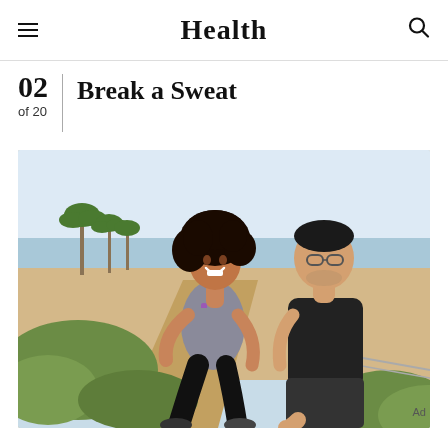Health
02  Break a Sweat
of 20
[Figure (photo): Two people jogging outdoors along a beachside path. A woman with curly hair wearing a grey tank top and black leggings smiles as she runs, with a man in a black t-shirt and shorts behind her. Palm trees and sandy beach are visible in the background.]
Ad